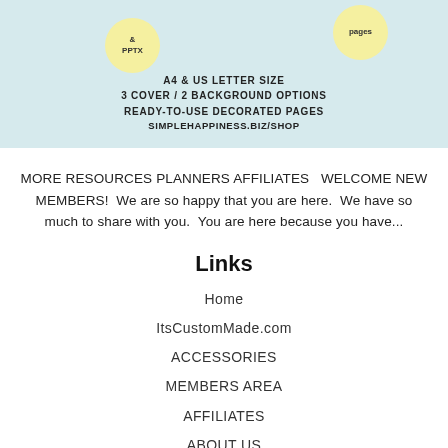[Figure (illustration): Light blue banner with decorative yellow speech bubbles containing text '& PPTX' and 'pages', and document/planner illustrations at the top]
A4 & US LETTER SIZE
3 COVER / 2 BACKGROUND OPTIONS
READY-TO-USE DECORATED PAGES
SIMPLEHAPPINESS.BIZ/SHOP
MORE RESOURCES PLANNERS AFFILIATES    WELCOME NEW MEMBERS!  We are so happy that you are here.  We have so much to share with you.  You are here because you have...
Links
Home
ItsCustomMade.com
ACCESSORIES
MEMBERS AREA
AFFILIATES
ABOUT US
DIGITAL PRODUCTS